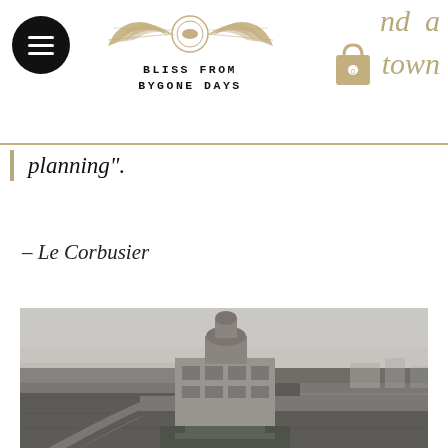Bliss From Bygone Days — website navigation header with logo and shop icon
planning".
– Le Corbusier
[Figure (photo): Black and white aerial photograph of a large curved modernist building complex with a rooftop test track, fog in the background — likely the Fiat Lingotto factory in Turin, Italy.]